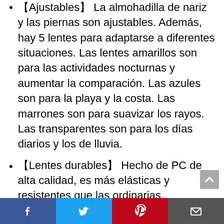【Ajustables】 La almohadilla de nariz y las piernas son ajustables. Además, hay 5 lentes para adaptarse a diferentes situaciones. Las lentes amarillos son para las actividades nocturnas y aumentar la comparación. Las azules son para la playa y la costa. Las marrones son para suavizar los rayos. Las transparentes son para los días diarios y los de lluvia.
【Lentes durables】 Hecho de PC de alta calidad, es más elásticas y resistentes que las ordinarias.
【Peso y tamaño】 Solo de 30 g, 20*13*10 cm.
【Protección perfecto】 UV 400.
Facebook Twitter Pinterest Email